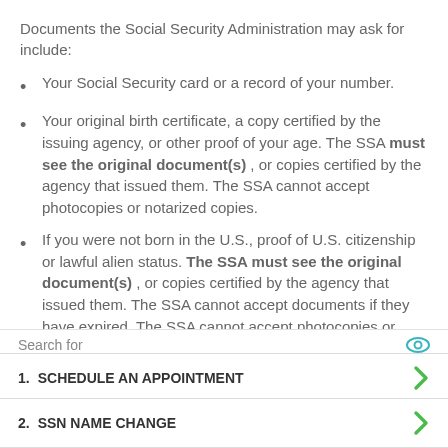Documents the Social Security Administration may ask for include:
Your Social Security card or a record of your number.
Your original birth certificate, a copy certified by the issuing agency, or other proof of your age. The SSA must see the original document(s) , or copies certified by the agency that issued them. The SSA cannot accept photocopies or notarized copies.
If you were not born in the U.S., proof of U.S. citizenship or lawful alien status. The SSA must see the original document(s) , or copies certified by the agency that issued them. The SSA cannot accept documents if they have expired. The SSA cannot accept photocopies or notarized copies.
Search for
1. SCHEDULE AN APPOINTMENT
2. SSN NAME CHANGE